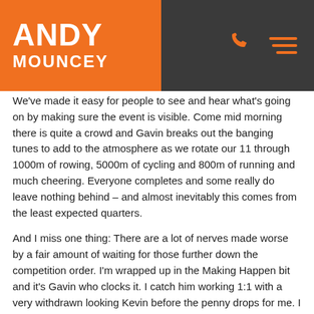ANDY MOUNCEY
We've made it easy for people to see and hear what's going on by making sure the event is visible. Come mid morning there is quite a crowd and Gavin breaks out the banging tunes to add to the atmosphere as we rotate our 11 through 1000m of rowing, 5000m of cycling and 800m of running and much cheering. Everyone completes and some really do leave nothing behind – and almost inevitably this comes from the least expected quarters.
And I miss one thing: There are a lot of nerves made worse by a fair amount of waiting for those further down the competition order. I'm wrapped up in the Making Happen bit and it's Gavin who clocks it. I catch him working 1:1 with a very withdrawn looking Kevin before the penny drops for me. I give a silent prayer of thanks to the gods of Gavin and make a note:
You'll be plugging that gap next time then, won't you Mr Mouncey?
The final wrap up is deeply moving in parts.
We're all gathered in our base for the final time – after I feared they'd eat the furniture along with the post-race food - with one of the senior staff sitting in. For the final two questions I ask them to speak